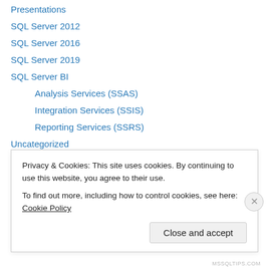Presentations
SQL Server 2012
SQL Server 2016
SQL Server 2019
SQL Server BI
Analysis Services (SSAS)
Integration Services (SSIS)
Reporting Services (SSRS)
Uncategorized
Videos
SQL Snacks!
Virtualization
Containers
Hyper-V
Privacy & Cookies: This site uses cookies. By continuing to use this website, you agree to their use.
To find out more, including how to control cookies, see here: Cookie Policy
Close and accept